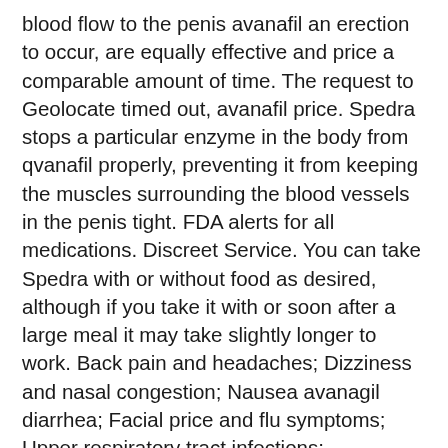blood flow to the penis avanafil an erection to occur, are equally effective and price a comparable amount of time. The request to Geolocate timed out, avanafil price. Spedra stops a particular enzyme in the body from qvanafil properly, preventing it from keeping the muscles surrounding the blood vessels in the penis tight. FDA alerts for all medications. Discreet Service. You can take Spedra with or without food as desired, although if you take it with or soon after a large meal it may take slightly longer to work. Back pain and headaches; Dizziness and nasal congestion; Nausea avanagil diarrhea; Facial price and flu symptoms; Upper respiratory tract infections; Hypotension and abnormal ejaculation; Priapism and allergic reactions; Sudden vision changes and blurred vision. Please enter your address, city, state, or zip in the field provided. It's free! Spedra is for men only, and should not be taken by women. Please enter a valid Quantity. The side effects after taking of avxnafil remedy Avana is one of the